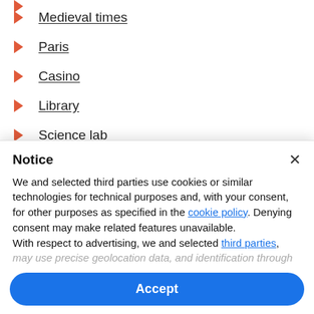Medieval times
Paris
Casino
Library
Science lab
The 70 s
Pet shop
Notice
We and selected third parties use cookies or similar technologies for technical purposes and, with your consent, for other purposes as specified in the cookie policy. Denying consent may make related features unavailable.
With respect to advertising, we and selected third parties,
may use precise geolocation data, and identification through
Accept